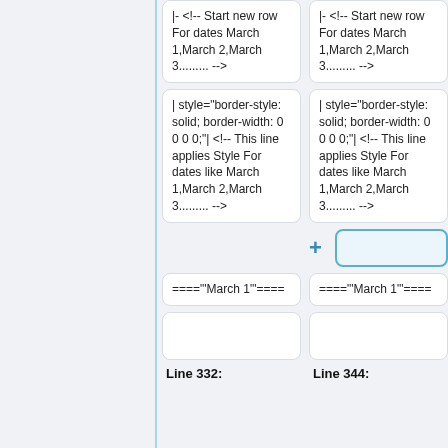|- <!-- Start new row For dates March 1,March 2,March 3......... -->
|- <!-- Start new row For dates March 1,March 2,March 3......... -->
| style="border-style: solid; border-width: 0 0 0 0;"| <!-- This line applies Style For dates like March 1,March 2,March 3......... -->
| style="border-style: solid; border-width: 0 0 0 0;"| <!-- This line applies Style For dates like March 1,March 2,March 3......... -->
===="'March 1"'====
===="'March 1"'====
Line 332:
Line 344: